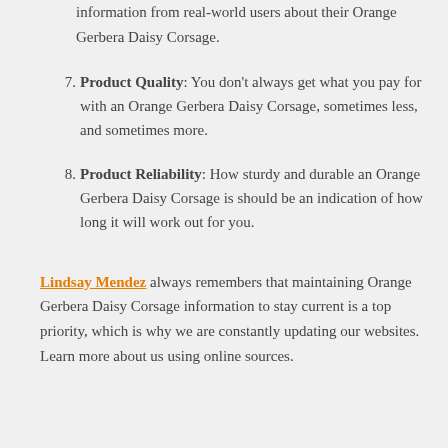information from real-world users about their Orange Gerbera Daisy Corsage.
Product Quality: You don't always get what you pay for with an Orange Gerbera Daisy Corsage, sometimes less, and sometimes more.
Product Reliability: How sturdy and durable an Orange Gerbera Daisy Corsage is should be an indication of how long it will work out for you.
Lindsay Mendez always remembers that maintaining Orange Gerbera Daisy Corsage information to stay current is a top priority, which is why we are constantly updating our websites. Learn more about us using online sources.